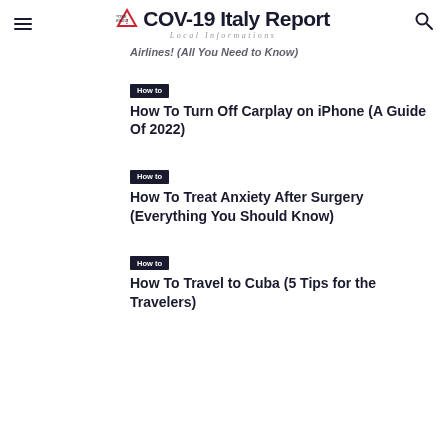COV-19 Italy Report | Local Informations
Airlines! (All You Need to Know)
How to
How To Turn Off Carplay on iPhone (A Guide Of 2022)
How to
How To Treat Anxiety After Surgery (Everything You Should Know)
How to
How To Travel to Cuba (5 Tips for the Travelers)